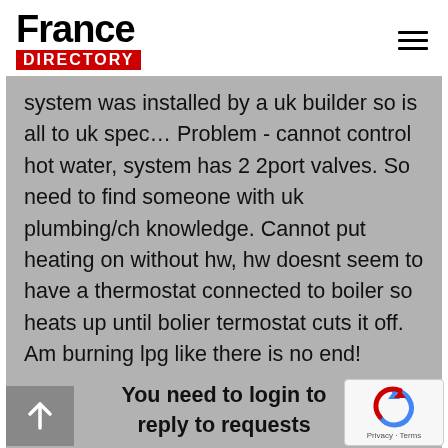[Figure (logo): France Directory logo: 'France' in bold black text above a red rectangle with 'DIRECTORY' in white bold text]
system was installed by a uk builder so is all to uk spec… Problem - cannot control hot water, system has 2 2port valves. So need to find someone with uk plumbing/ch knowledge. Cannot put heating on without hw, hw doesnt seem to have a thermostat connected to boiler so heats up until bolier termostat cuts it off. Am burning lpg like there is no end!
You need to login to reply to requests